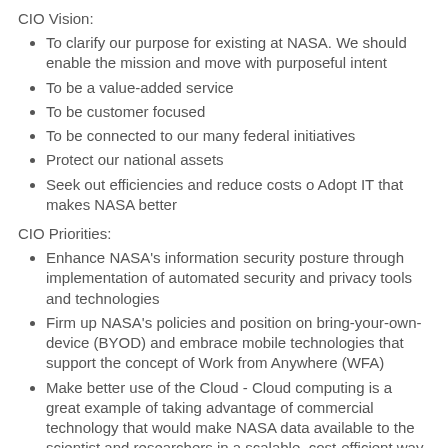CIO Vision:
To clarify our purpose for existing at NASA. We should enable the mission and move with purposeful intent
To be a value-added service
To be customer focused
To be connected to our many federal initiatives
Protect our national assets
Seek out efficiencies and reduce costs o Adopt IT that makes NASA better
CIO Priorities:
Enhance NASA's information security posture through implementation of automated security and privacy tools and technologies
Firm up NASA's policies and position on bring-your-own-device (BYOD) and embrace mobile technologies that support the concept of Work from Anywhere (WFA)
Make better use of the Cloud - Cloud computing is a great example of taking advantage of commercial technology that would make NASA data available to the scientist and researchers in a scalable, cost-efficient way
Develop an IT program that adjusts to the challenging